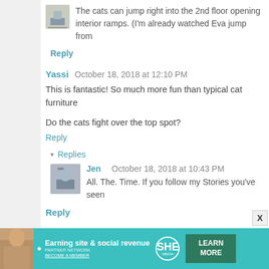The cats can jump right into the 2nd floor opening... interior ramps. (I'm already watched Eva jump from
Reply
Yassi   October 18, 2018 at 12:10 PM
This is fantastic! So much more fun than typical cat furniture
Do the cats fight over the top spot?
Reply
▾ Replies
Jen   October 18, 2018 at 10:43 PM
All. The. Time. If you follow my Stories you've seen
Reply
Crickett   October 18, 2018 at 1:44 PM
[Figure (infographic): SHE Partner Network ad banner: Earning site & social revenue. Learn More. Become a member.]